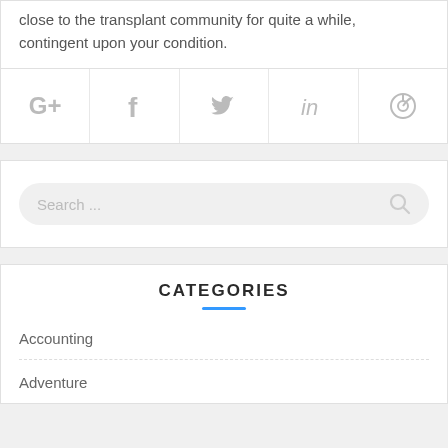close to the transplant community for quite a while, contingent upon your condition.
[Figure (infographic): Social sharing icons row: Google+, Facebook, Twitter, LinkedIn, Pinterest]
[Figure (screenshot): Search bar with placeholder text 'Search ...' and a magnifying glass icon]
CATEGORIES
Accounting
Adventure